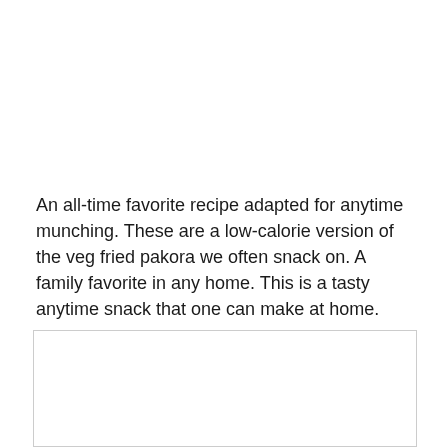An all-time favorite recipe adapted for anytime munching. These are a low-calorie version of the veg fried pakora we often snack on. A family favorite in any home. This is a tasty anytime snack that one can make at home.
[Figure (other): Empty white box with light gray border, partially visible at bottom of page]